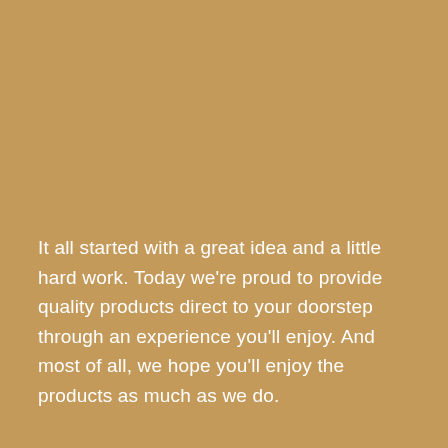It all started with a great idea and a little hard work. Today we're proud to provide quality products direct to your doorstep through an experience you'll enjoy. And most of all, we hope you'll enjoy the products as much as we do.